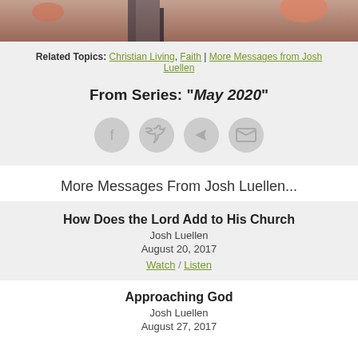[Figure (photo): Top portion of a photo showing a person standing at what appears to be a church altar or stage with floral arrangements]
Related Topics: Christian Living, Faith | More Messages from Josh Luellen
From Series: "May 2020"
[Figure (infographic): Four circular social media share buttons: Facebook, Twitter, Share/Forward, and Email]
More Messages From Josh Luellen...
How Does the Lord Add to His Church
Josh Luellen
August 20, 2017
Watch  /  Listen
Approaching God
Josh Luellen
August 27, 2017